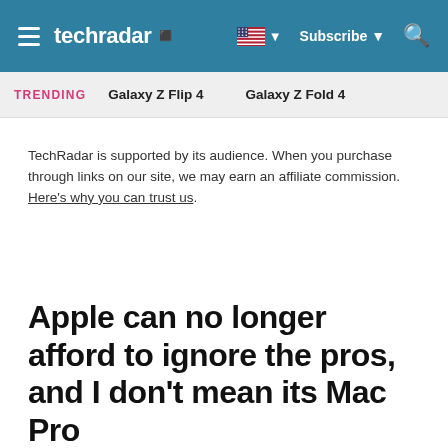techradar | Subscribe | Search
TRENDING   Galaxy Z Flip 4   Galaxy Z Fold 4
TechRadar is supported by its audience. When you purchase through links on our site, we may earn an affiliate commission. Here's why you can trust us.
Apple can no longer afford to ignore the pros, and I don't mean its Mac Pro